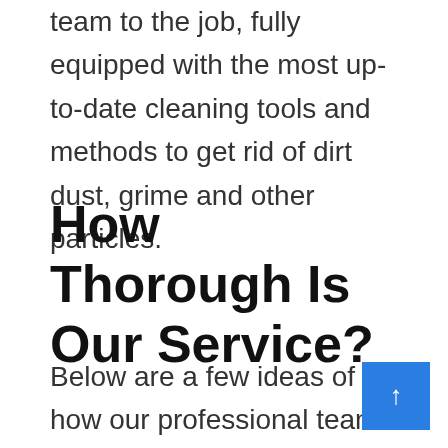team to the job, fully equipped with the most up-to-date cleaning tools and methods to get rid of dirt dust, grime and other particles.
How Thorough Is Our Service?
Below are a few ideas of how our professional team can help you keep your commercial or office premises clean and neat: